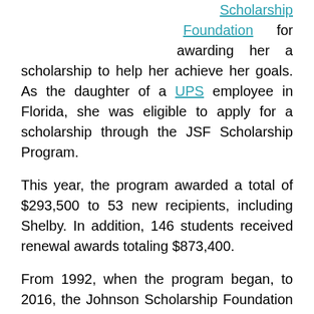Scholarship Foundation for awarding her a scholarship to help her achieve her goals. As the daughter of a UPS employee in Florida, she was eligible to apply for a scholarship through the JSF Scholarship Program.
This year, the program awarded a total of $293,500 to 53 new recipients, including Shelby. In addition, 146 students received renewal awards totaling $873,400.
From 1992, when the program began, to 2016, the Johnson Scholarship Foundation awarded more than $18.4 million for scholarships for more than 1,200 students.